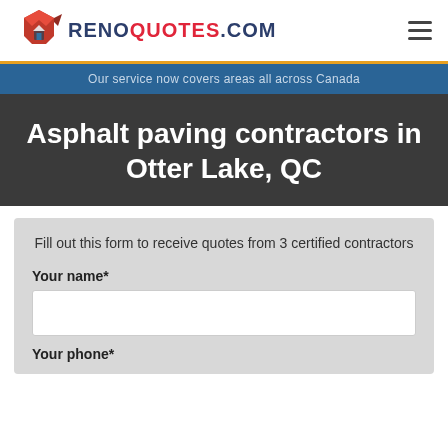[Figure (logo): RenoQuotes.com logo with red house icon and blue/red text]
Our service now covers areas all across Canada
Asphalt paving contractors in Otter Lake, QC
Fill out this form to receive quotes from 3 certified contractors
Your name*
Your phone*